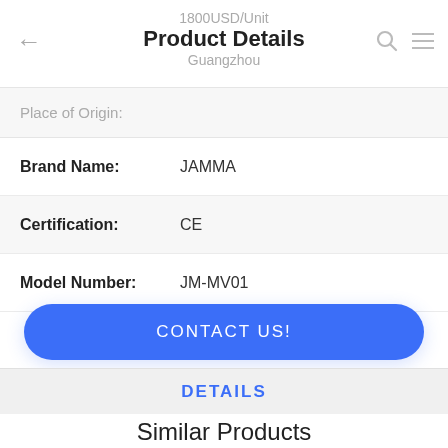1800USD/Unit
Product Details
Guangzhou
Place of Origin:
| Field | Value |
| --- | --- |
| Brand Name: | JAMMA |
| Certification: | CE |
| Model Number: | JM-MV01 |
CONTACT US!
DETAILS
Similar Products
Coin Operated Arcade